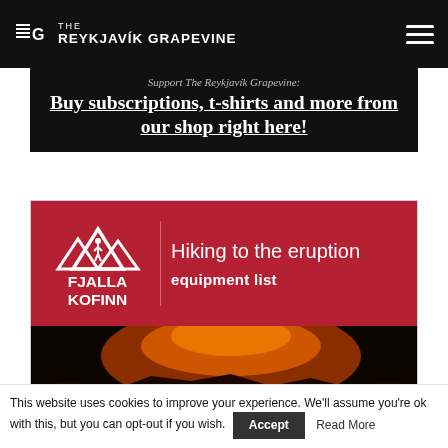THE REYKJAVIK GRAPEVINE
[Figure (illustration): Fjalla Kofinn advertisement with red background showing mountain logo, text 'Hiking to the eruption equipment list', and a photo of hikers near volcanic eruption at night]
Support The Reykjavik Grapevine! Buy subscriptions, t-shirts and more from our shop right here!
This website uses cookies to improve your experience. We'll assume you're ok with this, but you can opt-out if you wish.  Accept  Read More